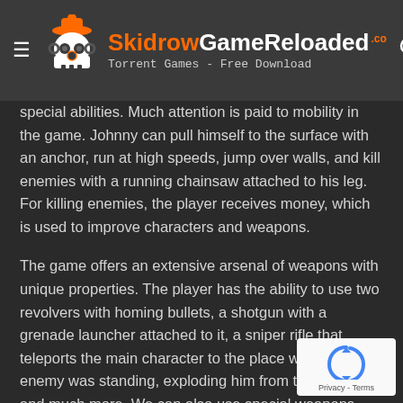SkidrowGameReloaded.co — Torrent Games - Free Download
special abilities. Much attention is paid to mobility in the game. Johnny can pull himself to the surface with an anchor, run at high speeds, jump over walls, and kill enemies with a running chainsaw attached to his leg. For killing enemies, the player receives money, which is used to improve characters and weapons.
The game offers an extensive arsenal of weapons with unique properties. The player has the ability to use two revolvers with homing bullets, a shotgun with a grenade launcher attached to it, a sniper rifle that teleports the main character to the place where the enemy was standing, exploding him from the inside, and much more. We can also use special weapons that we mount in our body, such as a rocket built into Johnny's arm. New upgrades can be bought or taken from defeated bosses. Turbo Overkill features a single-player campaign with over twenty levels, secrets to find and side missions to complete. The game has an impressive audiovisual accompaniment. Smooth